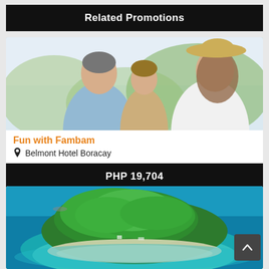Related Promotions
[Figure (photo): Family of three — father, young daughter, and mother wearing a straw hat — smiling outdoors in a sunny setting]
Fun with Fambam
Belmont Hotel Boracay
PHP 19,704
[Figure (photo): Aerial view of a tropical island with lush green vegetation, white sandy beach, and surrounding turquoise blue ocean water]